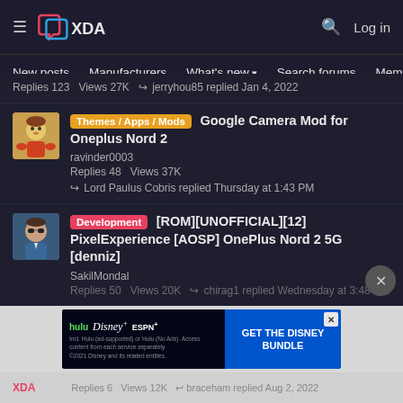XDA Developers — Log in
New posts | Manufacturers | What's new | Search forums | Members >
Replies 123 Views 27K ↩ jerryhou85 replied Jan 4, 2022
[Themes / Apps / Mods] Google Camera Mod for Oneplus Nord 2 — ravinder0003 — Replies 48 Views 37K — Lord Paulus Cobris replied Thursday at 1:43 PM
[Development] [ROM][UNOFFICIAL][12] PixelExperience [AOSP] OnePlus Nord 2 5G [denniz] — SakilMondal — Replies 50 Views 20K — chirag1 replied Wednesday at 3:48 PM
[Figure (screenshot): Disney Bundle advertisement banner: hulu, Disney+, ESPN+ logos on dark background with 'GET THE DISNEY BUNDLE' call to action button]